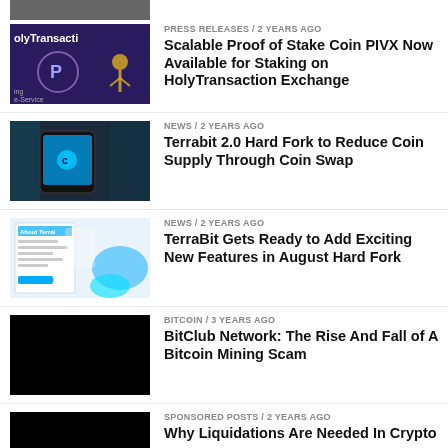[Figure (photo): Partial image at top, cropped]
PRESS RELEASES / 2 years ago — Scalable Proof of Stake Coin PIVX Now Available for Staking on HolyTransaction Exchange
NEWS / 2 years ago — Terrabit 2.0 Hard Fork to Reduce Coin Supply Through Coin Swap
NEWS / 2 years ago — TerraBit Gets Ready to Add Exciting New Features in August Hard Fork
BITCOIN / 3 years ago — BitClub Network: The Rise And Fall of A Bitcoin Mining Scam
SPONSORED POSTS / 2 years ago — Why Liquidations Are Needed In Crypto